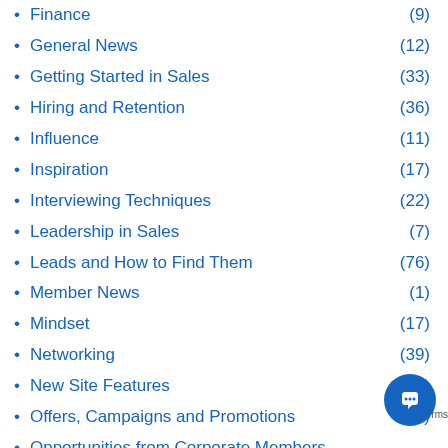Finance (9)
General News (12)
Getting Started in Sales (33)
Hiring and Retention (36)
Influence (11)
Inspiration (17)
Interviewing Techniques (22)
Leadership in Sales (7)
Leads and How to Find Them (76)
Member News (1)
Mindset (17)
Networking (39)
New Site Features (11)
Offers, Campaigns and Promotions (13)
Opportunities from Corporate Members
Pipeline Management (1…)